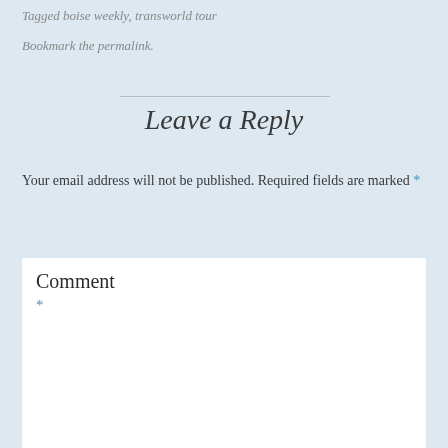Tagged boise weekly, transworld tour
Bookmark the permalink.
Leave a Reply
Your email address will not be published. Required fields are marked *
Comment *